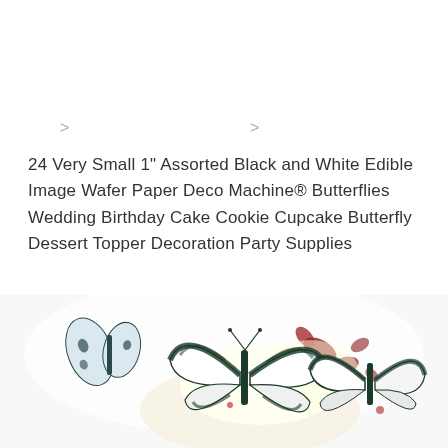>
>
24 Very Small 1" Assorted Black and White Edible Image Wafer Paper Deco Machine® Butterflies Wedding Birthday Cake Cookie Cupcake Butterfly Dessert Topper Decoration Party Supplies
[Figure (photo): Photo of black and white edible wafer paper butterflies decorating a cupcake or dessert with red/pink flower petals and cream frosting, shown on white background]